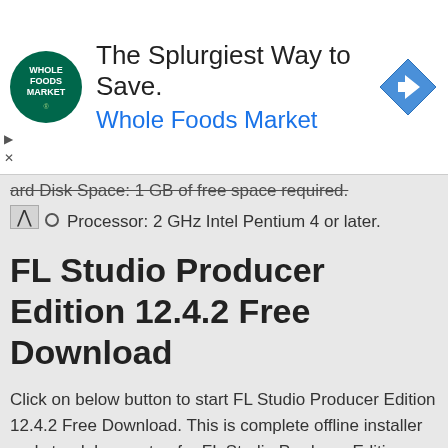[Figure (other): Whole Foods Market advertisement banner with logo, headline 'The Splurgiest Way to Save.', subtext 'Whole Foods Market', and a blue navigation arrow icon on the right.]
Hard Disk Space: 1 GB of free space required.
Processor: 2 GHz Intel Pentium 4 or later.
FL Studio Producer Edition 12.4.2 Free Download
Click on below button to start FL Studio Producer Edition 12.4.2 Free Download. This is complete offline installer and standalone setup for FL Studio Producer Edition 12.4.2. This would be compatible with both 32 bit and 64 bit windows.
Before Installing Software You Must Watch This Installation Guide